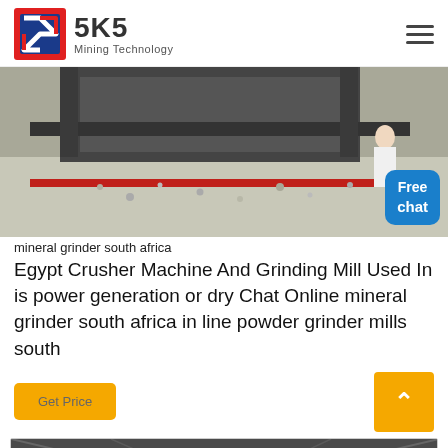SKS Mining Technology
[Figure (photo): Industrial mining machinery with conveyor belt and crushed stone/gravel material, indoor facility]
mineral grinder south africa
Egypt Crusher Machine And Grinding Mill Used In is power generation or dry Chat Online mineral grinder south africa in line powder grinder mills south
[Figure (photo): Interior of mining facility showing structural beams and equipment]